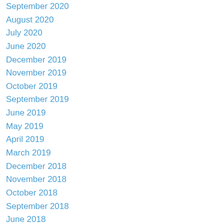September 2020
August 2020
July 2020
June 2020
December 2019
November 2019
October 2019
September 2019
June 2019
May 2019
April 2019
March 2019
December 2018
November 2018
October 2018
September 2018
June 2018
May 2018
April 2018
March 2018
December 2017